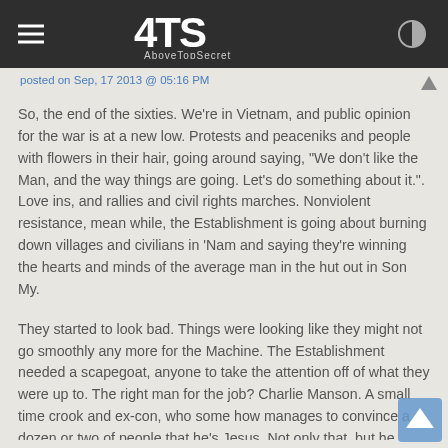ATS AboveTopSecret
posted on Sep, 17 2013 @ 05:16 PM
So, the end of the sixties. We're in Vietnam, and public opinion for the war is at a new low. Protests and peaceniks and people with flowers in their hair, going around saying, "We don't like the Man, and the way things are going. Let's do something about it.". Love ins, and rallies and civil rights marches. Nonviolent resistance, mean while, the Establishment is going about burning down villages and civilians in 'Nam and saying they're winning the hearts and minds of the average man in the hut out in Son My.
They started to look bad. Things were looking like they might not go smoothly any more for the Machine. The Establishment needed a scapegoat, anyone to take the attention off of what they were up to. The right man for the job? Charlie Manson. A small time crook and ex-con, who some how manages to convince a dozen or two of people that he's Jesus. Not only that, but he convinces them that Jesus wants them to kill Roman Polanski's wife. A very high profile target, a pregnant movie star.